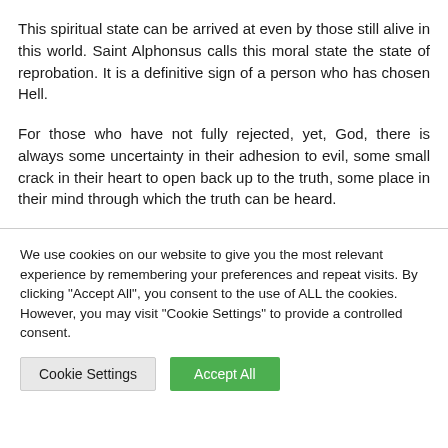This spiritual state can be arrived at even by those still alive in this world. Saint Alphonsus calls this moral state the state of reprobation. It is a definitive sign of a person who has chosen Hell.
For those who have not fully rejected, yet, God, there is always some uncertainty in their adhesion to evil, some small crack in their heart to open back up to the truth, some place in their mind through which the truth can be heard.
We use cookies on our website to give you the most relevant experience by remembering your preferences and repeat visits. By clicking "Accept All", you consent to the use of ALL the cookies. However, you may visit "Cookie Settings" to provide a controlled consent.